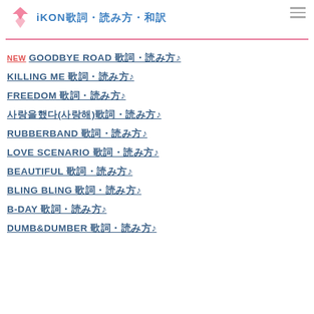iKON歌詞・読み方・和訳
NEW GOODBYE ROAD 歌詞・読み方 ♪
KILLING ME 歌詞・読み方 ♪
FREEDOM 歌詞・読み方 ♪
사랑을 했다(사랑해) 歌詞・読み方 ♪
RUBBERBAND 歌詞・読み方 ♪
LOVE SCENARIO 歌詞・読み方 ♪
BEAUTIFUL 歌詞・読み方 ♪
BLING BLING 歌詞・読み方 ♪
B-DAY 歌詞・読み方 ♪
DUMB&DUMBER 歌詞・読み方 ♪